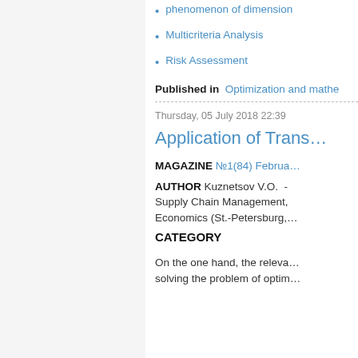phenomenon of dimension
Multicriteria Analysis
Risk Assessment
Published in  Optimization and mathe…
Thursday, 05 July 2018 22:39
Application of Trans…
MAGAZINE №1(84) Februa…
AUTHOR Kuznetsov V.O.  - Supply Chain Management, Economics (St.-Petersburg,…
CATEGORY
On the one hand, the releva… solving the problem of optim…